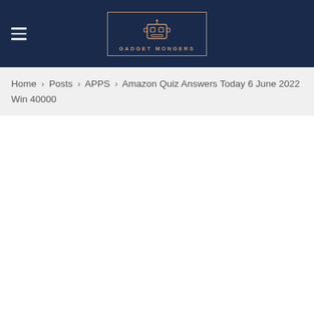GADGET MONGERS
Home > Posts > APPS > Amazon Quiz Answers Today 6 June 2022 Win 40000